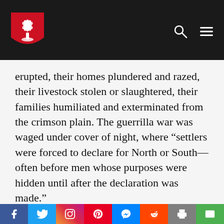[Figure (logo): University shield logo with white palmetto tree on red background, in dark navigation bar with search and menu icons]
erupted, their homes plundered and razed, their livestock stolen or slaughtered, their families humiliated and exterminated from the crimson plain. The guerrilla war was waged under cover of night, where “settlers were forced to declare for North or South—often before men whose purposes were hidden until after the declaration was made.”
[Figure (infographic): Social media sharing bar with icons for Facebook, Twitter, Instagram, Pinterest, Messenger, Reddit, Print, and Email]